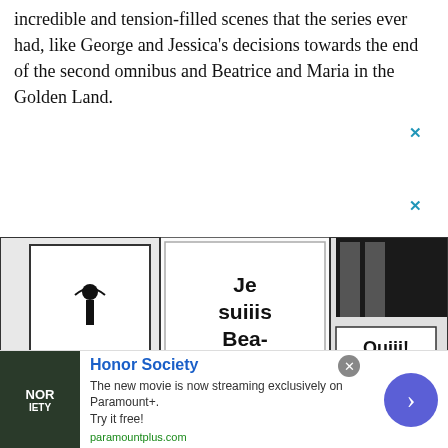incredible and tension-filled scenes that the series ever had, like George and Jessica's decisions towards the end of the second omnibus and Beatrice and Maria in the Golden Land.
[Figure (illustration): Manga panel showing characters with speech bubbles: 'Je suiiis Bea-triiice !!!', 'Ahhh hua', 'Ouiii!' — black and white manga art]
[Figure (infographic): Advertisement banner for Honor Society movie streaming on Paramount+. Shows movie thumbnail, title 'Honor Society', description text, paramountplus.com URL, close button and arrow button.]